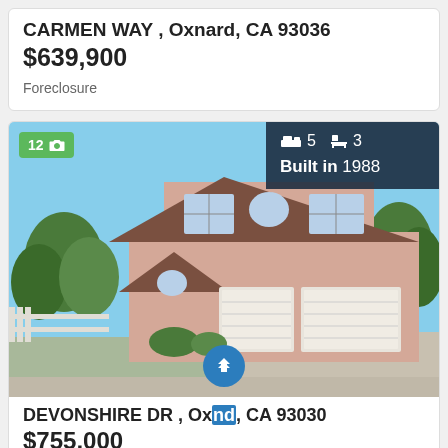CARMEN WAY , Oxnard, CA 93036
$639,900
Foreclosure
[Figure (photo): Two-story pink/beige residential home with brown tile roof, three-car garage, blue sky background, green trees and lawn. Photo count badge showing 12 photos. Info overlay showing 5 bedrooms, 3 bathrooms, Built in 1988.]
DEVONSHIRE DR , Oxnard, CA 93030
$755,000